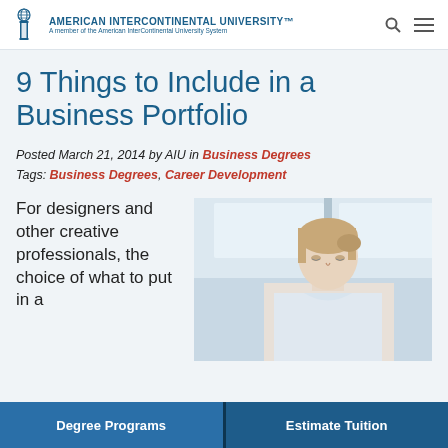American InterContinental University™ — A member of the American InterContinental University System
9 Things to Include in a Business Portfolio
Posted March 21, 2014 by AIU in Business Degrees
Tags: Business Degrees, Career Development
For designers and other creative professionals, the choice of what to put in a
[Figure (photo): Professional woman with blonde hair pulled back, looking down, in a bright office environment]
Degree Programs | Estimate Tuition